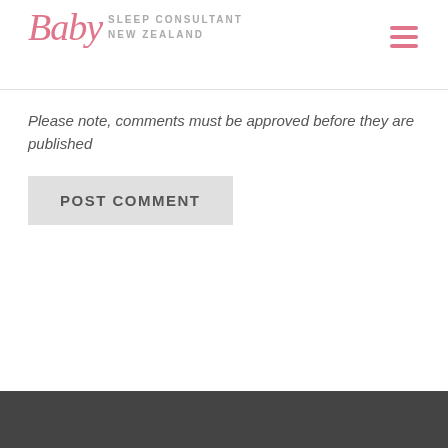Baby SLEEP CONSULTANT NEW ZEALAND
Please note, comments must be approved before they are published
POST COMMENT